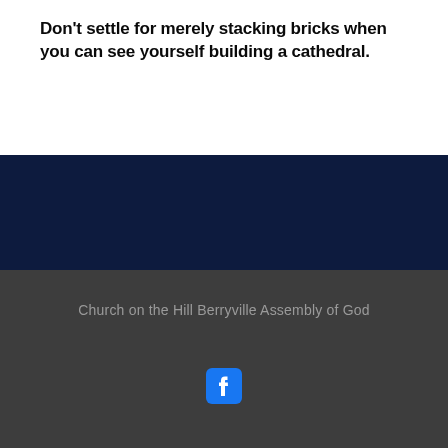Don't settle for merely stacking bricks when you can see yourself building a cathedral.
[Figure (other): Dark navy blue background section]
Church on the Hill Berryville Assembly of God
[Figure (logo): Facebook icon - rounded square with white 'f' letter in navy blue]